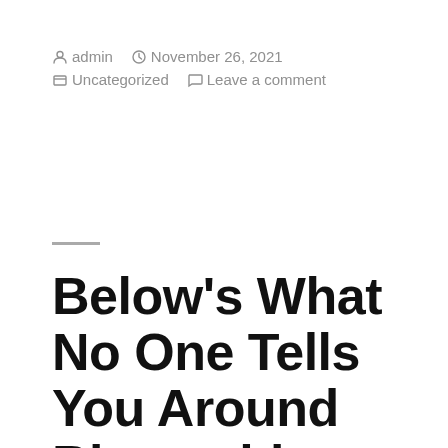admin   November 26, 2021   Uncategorized   Leave a comment
Below's What No One Tells You Around Blog writing.